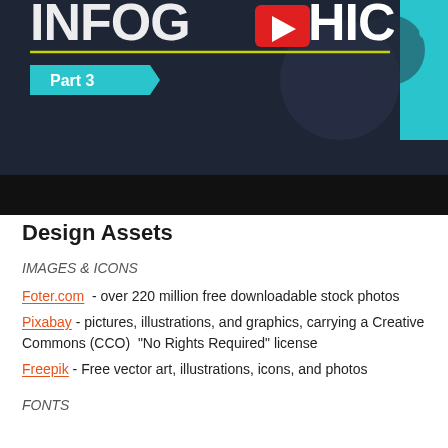[Figure (screenshot): Top portion of an infographic design tutorial screenshot showing 'Part 3' banner on dark navy background with teal accent, large stylized 'INFOGRAPHIC' title text partially visible]
Design Assets
IMAGES & ICONS
Foter.com  - over 220 million free downloadable stock photos
Pixabay - pictures, illustrations, and graphics, carrying a Creative Commons (CCO)  "No Rights Required" license
Freepik - Free vector art, illustrations, icons, and photos
FONTS